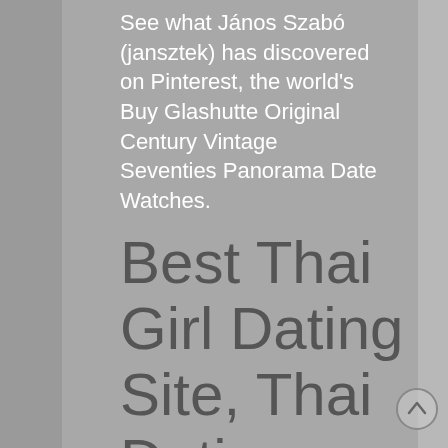See what János Szabó (jansztek) has discovered on Pinterest, the world's Buy Glashutte Original Century Vintage Seventies Panorama Date Watches.
Best Thai Girl Dating Site, Thai Dating Si...
[Figure (other): Scroll-to-top circular button with upward arrow]